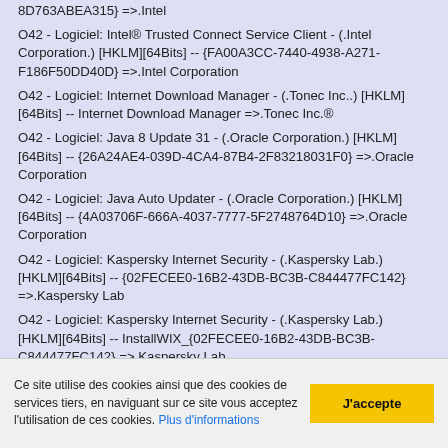8D763ABEA315} =>.Intel
O42 - Logiciel: Intel® Trusted Connect Service Client - (.Intel Corporation.) [HKLM][64Bits] -- {FA00A3CC-7440-4938-A271-F186F50DD40D} =>.Intel Corporation
O42 - Logiciel: Internet Download Manager - (.Tonec Inc..) [HKLM][64Bits] -- Internet Download Manager =>.Tonec Inc.®
O42 - Logiciel: Java 8 Update 31 - (.Oracle Corporation.) [HKLM][64Bits] -- {26A24AE4-039D-4CA4-87B4-2F83218031F0} =>.Oracle Corporation
O42 - Logiciel: Java Auto Updater - (.Oracle Corporation.) [HKLM][64Bits] -- {4A03706F-666A-4037-7777-5F2748764D10} =>.Oracle Corporation
O42 - Logiciel: Kaspersky Internet Security - (.Kaspersky Lab.) [HKLM][64Bits] -- {02FECEE0-16B2-43DB-BC3B-C844477FC142} =>.Kaspersky Lab
O42 - Logiciel: Kaspersky Internet Security - (.Kaspersky Lab.) [HKLM][64Bits] -- InstallWIX_{02FECEE0-16B2-43DB-BC3B-C844477FC142} =>.Kaspersky Lab
O42 - Logiciel: K-Lite Codec Pack (64-bit) v4.3.0 - (...) [HKLM]
Ce site utilise des cookies ainsi que des cookies de services tiers, en naviguant sur ce site vous acceptez l'utilisation de ces cookies. Plus d'informations
J'accepte